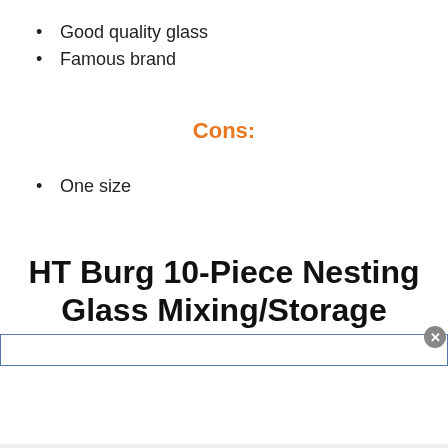Good quality glass
Famous brand
Cons:
One size
HT Burg 10-Piece Nesting Glass Mixing/Storage Bowls